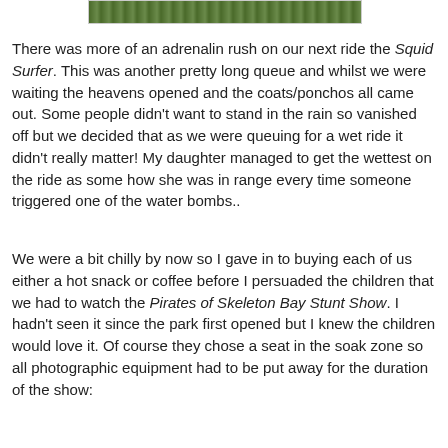[Figure (photo): Top portion of a photo showing green grass or foliage, partially cropped at the top of the page.]
There was more of an adrenalin rush on our next ride the Squid Surfer. This was another pretty long queue and whilst we were waiting the heavens opened and the coats/ponchos all came out. Some people didn't want to stand in the rain so vanished off but we decided that as we were queuing for a wet ride it didn't really matter! My daughter managed to get the wettest on the ride as some how she was in range every time someone triggered one of the water bombs..
We were a bit chilly by now so I gave in to buying each of us either a hot snack or coffee before I persuaded the children that we had to watch the Pirates of Skeleton Bay Stunt Show. I hadn't seen it since the park first opened but I knew the children would love it. Of course they chose a seat in the soak zone so all photographic equipment had to be put away for the duration of the show: